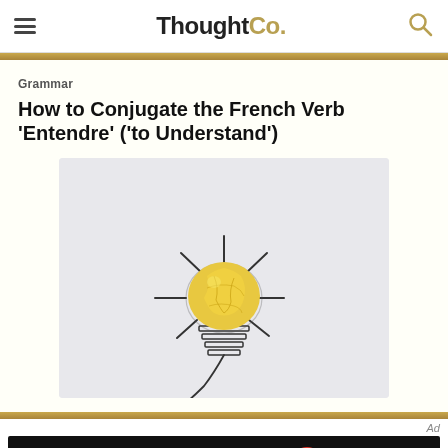ThoughtCo.
Grammar
How to Conjugate the French Verb 'Entendre' ('to Understand')
[Figure (illustration): Illustration of a lightbulb made from a crumpled yellow paper ball as the bulb, with hand-drawn black lines radiating outward as rays of light, a drawn socket and wire below, on a light grey background.]
Ad
[Figure (logo): Dotdash Meredith advertisement banner. Black background with white text 'We help people find answers, solve problems and get inspired.' alongside a red circular D logo and the Dotdash Meredith colorful dots logo with company name.]